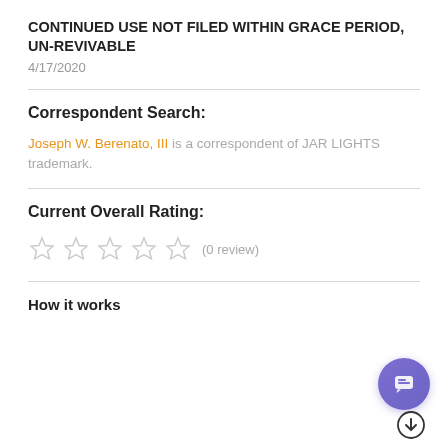CONTINUED USE NOT FILED WITHIN GRACE PERIOD, UN-REVIVABLE
4/17/2020
Correspondent Search:
Joseph W. Berenato, III is a correspondent of JAR LIGHTS trademark.
Current Overall Rating:
(0 review)
How it works